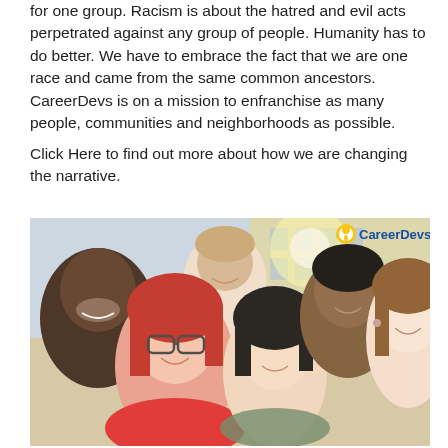for one group. Racism is about the hatred and evil acts perpetrated against any group of people. Humanity has to do better. We have to embrace the fact that we are one race and came from the same common ancestors. CareerDevs is on a mission to enfranchise as many people, communities and neighborhoods as possible.
Click Here to find out more about how we are changing the narrative.
[Figure (photo): Group selfie photo of five smiling young adults of diverse ethnicities (Black, White, Hispanic/Latino, Asian, South Asian) posed together outdoors in front of a building. CareerDevs logo with lightbulb icon appears in the upper right corner of the image.]